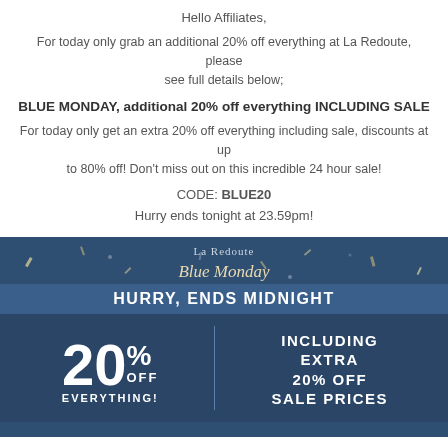Hello Affiliates,
For today only grab an additional 20% off everything at La Redoute, please see full details below;
BLUE MONDAY, additional 20% off everything INCLUDING SALE
For today only get an extra 20% off everything including sale, discounts at up to 80% off! Don't miss out on this incredible 24 hour sale!
CODE: BLUE20
Hurry ends tonight at 23.59pm!
[Figure (illustration): La Redoute Blue Monday promotional banner on a dark navy background with confetti/stars decoration. Text reads: 'La Redoute', 'Blue Monday' in italic gold, 'HURRY, ENDS MIDNIGHT' in white bold, '20% OFF EVERYTHING!' on left, 'INCLUDING EXTRA 20% OFF SALE PRICES' on right.]